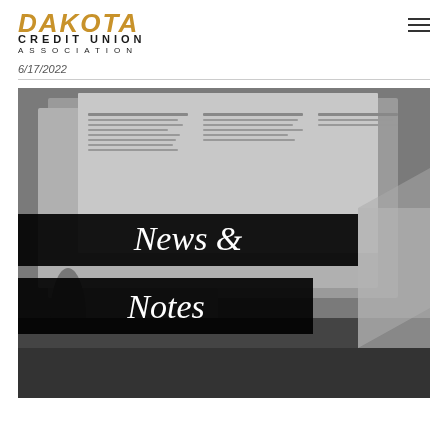Dakota Credit Union Association
6/17/2022
[Figure (photo): Black and white photograph of stacked newspapers with two black banner overlays reading 'News &' and 'Notes' in italic serif font]